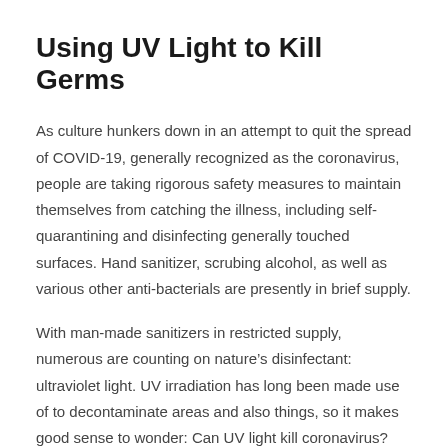Using UV Light to Kill Germs
As culture hunkers down in an attempt to quit the spread of COVID-19, generally recognized as the coronavirus, people are taking rigorous safety measures to maintain themselves from catching the illness, including self-quarantining and disinfecting generally touched surfaces. Hand sanitizer, scrubing alcohol, as well as various other anti-bacterials are presently in brief supply.
With man-made sanitizers in restricted supply, numerous are counting on nature’s disinfectant: ultraviolet light. UV irradiation has long been made use of to decontaminate areas and also things, so it makes good sense to wonder: Can UV light kill coronavirus?